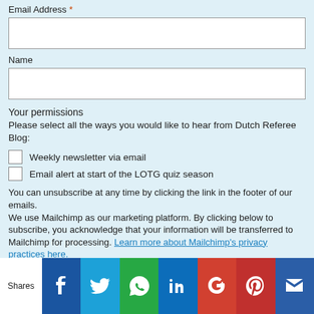Email Address *
Name
Your permissions
Please select all the ways you would like to hear from Dutch Referee Blog:
Weekly newsletter via email
Email alert at start of the LOTG quiz season
You can unsubscribe at any time by clicking the link in the footer of our emails.
We use Mailchimp as our marketing platform. By clicking below to subscribe, you acknowledge that your information will be transferred to Mailchimp for processing. Learn more about Mailchimp's privacy practices here.
Subscribe
[Figure (infographic): Social sharing bar with icons for Facebook, Twitter, WhatsApp, LinkedIn, Google+, Pinterest, and an envelope/save icon. 'Shares' label on the left.]